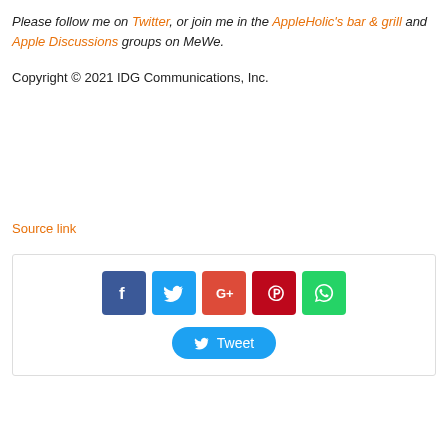Please follow me on Twitter, or join me in the AppleHolic's bar & grill and Apple Discussions groups on MeWe.
Copyright © 2021 IDG Communications, Inc.
Source link
[Figure (other): Social share buttons: Facebook, Twitter, Google+, Pinterest, WhatsApp icons and a Tweet button]